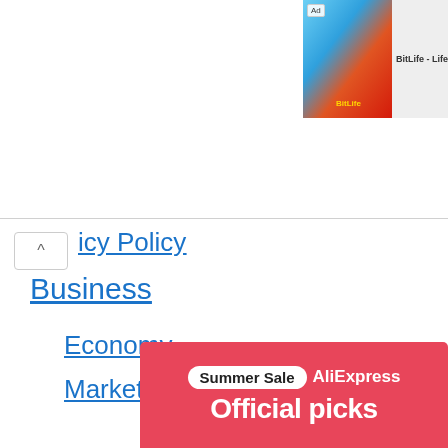[Figure (screenshot): BitLife advertisement banner in top right corner showing a cartoon flexing arm and BitLife logo on red background with 'Ad' label]
icy Policy
Business
Economy
Markets
Personal finance
Entrepreneurship
Interviews
[Figure (screenshot): AliExpress Summer Sale advertisement banner with 'Summer Sale AliExpress' pill and 'Official picks' text on pink/red background]